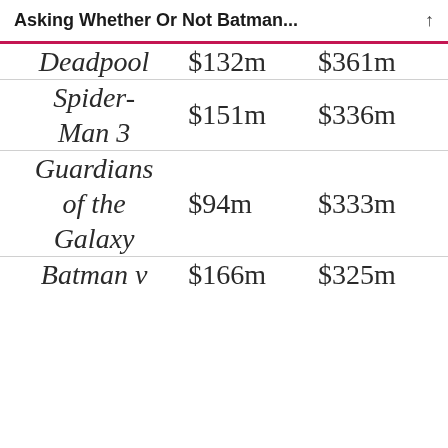Asking Whether Or Not Batman...
| Movie | Col2 | Col3 |
| --- | --- | --- |
| Deadpool | $132m | $361m |
| Spider-Man 3 | $151m | $336m |
| Guardians of the Galaxy | $94m | $333m |
| Batman v | $166m | $325m |